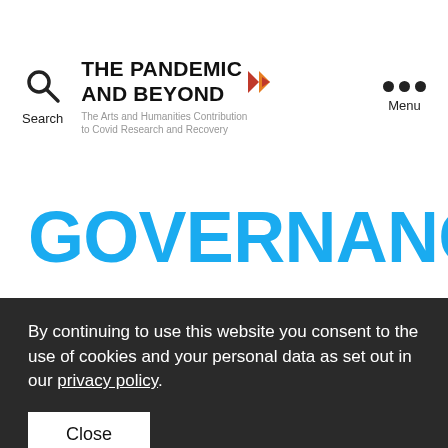THE PANDEMIC AND BEYOND — The Arts and Humanities Contribution to Covid Research and Recovery
GOVERNANCE:
By continuing to use this website you consent to the use of cookies and your personal data as set out in our privacy policy.
Close